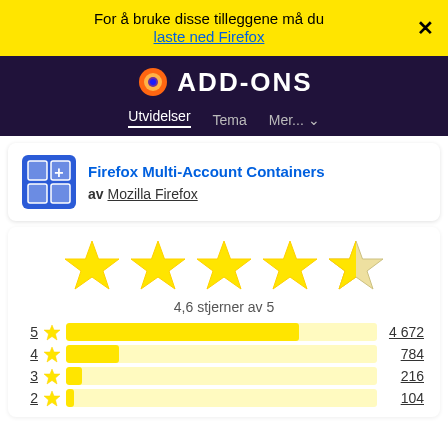For å bruke disse tilleggene må du laste ned Firefox
[Figure (screenshot): Firefox ADD-ONS site header with dark purple background, Firefox logo, and navigation tabs: Utvidelser, Tema, Mer...]
Firefox Multi-Account Containers av Mozilla Firefox
[Figure (infographic): Star rating display showing 4.6 out of 5 stars (5 gold stars, last one partially filled)]
4,6 stjerner av 5
[Figure (bar-chart): Rating distribution]